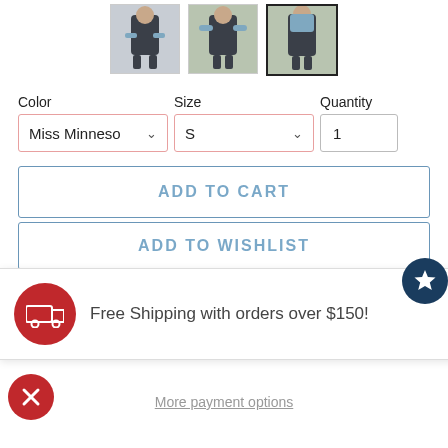[Figure (photo): Three product thumbnail photos of a woman wearing athletic wear, the third one selected with a dark border]
Color
Size
Quantity
Miss Minneso ∨
S ∨
1
ADD TO CART
ADD TO WISHLIST
Free Shipping with orders over $150!
More payment options